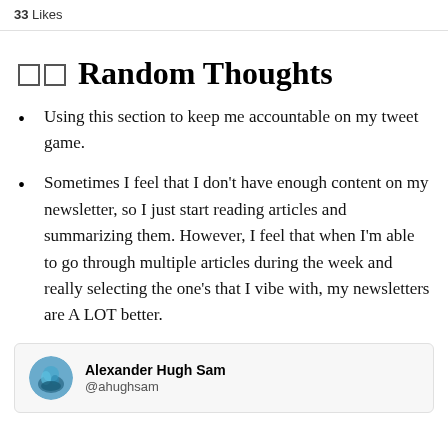33 Likes
□□ Random Thoughts
Using this section to keep me accountable on my tweet game.
Sometimes I feel that I don't have enough content on my newsletter, so I just start reading articles and summarizing them. However, I feel that when I'm able to go through multiple articles during the week and really selecting the one's that I vibe with, my newsletters are A LOT better.
Alexander Hugh Sam @ahughsam